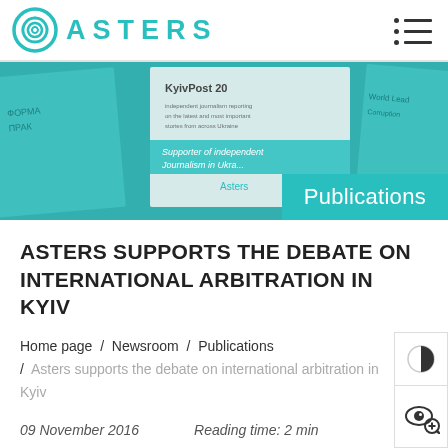ASTERS
[Figure (photo): Hero image showing publications/newspapers with teal overlay. Kyiv Post visible. Asters branding. 'Publications' badge in teal at bottom right.]
ASTERS SUPPORTS THE DEBATE ON INTERNATIONAL ARBITRATION IN KYIV
Home page / Newsroom / Publications / Asters supports the debate on international arbitration in Kyiv
09 November 2016    Reading time: 2 min